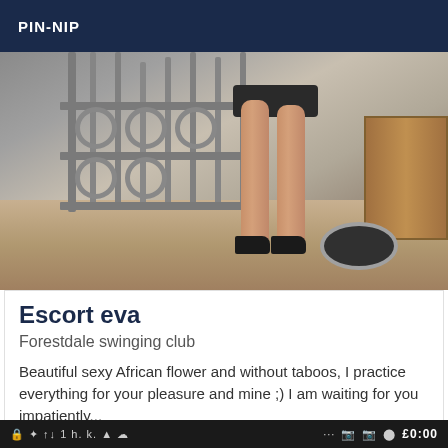PIN-NIP
[Figure (photo): Photo showing legs of a woman in a short dark skirt and black heels, standing on a wooden deck area near ornamental iron fence railings, with a wooden box/crate on the right side.]
Escort eva
Forestdale swinging club
Beautiful sexy African flower and without taboos, I practice everything for your pleasure and mine ;) I am waiting for you impatiently...
🔒 🔆 ↑↓ 1 h. k. ▲ ⊗  ...  ☎  📷  ●  £0:00